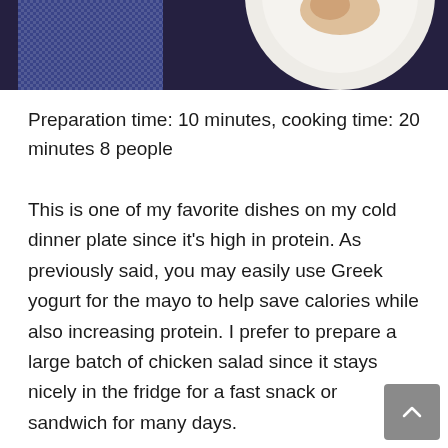[Figure (photo): Top portion of a food photo showing a dark navy/purple background with a patterned blue fabric/napkin on the left, and a white plate with food on the right, partially cropped at the top of the page.]
Preparation time: 10 minutes, cooking time: 20 minutes 8 people
This is one of my favorite dishes on my cold dinner plate since it's high in protein. As previously said, you may easily use Greek yogurt for the mayo to help save calories while also increasing protein. I prefer to prepare a large batch of chicken salad since it stays nicely in the fridge for a fast snack or sandwich for many days.